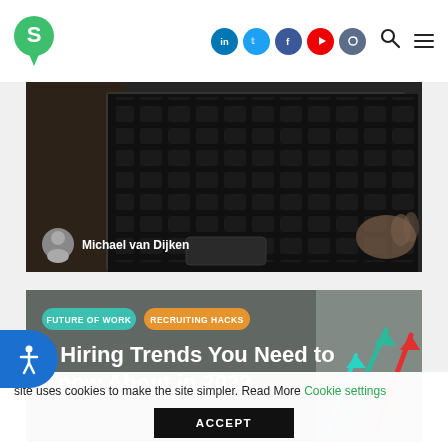Site navigation header with logo, social media icons (LinkedIn, Twitter, Facebook, YouTube, Instagram), search and menu icons
[Figure (photo): Dark laptop keyboard close-up photo with author avatar and name overlay]
Michael van Dijken
[Figure (photo): Article card with gray background, trending arrows graphic on the right]
FUTURE OF WORK  RECRUITING HACKS
4 Hiring Trends You Need to Know About in 2022
site uses cookies to make the site simpler. Read More Cookie settings
ACCEPT